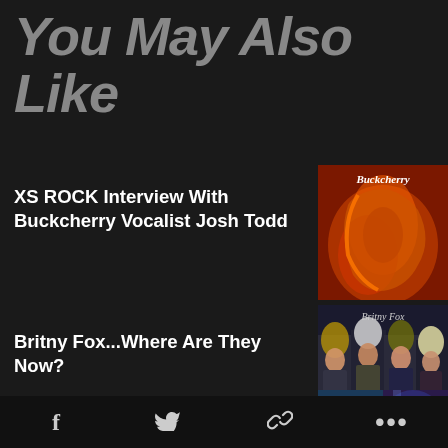You May Also Like
XS ROCK Interview With Buckcherry Vocalist Josh Todd
[Figure (photo): Buckcherry album cover with fiery woman illustration and 'Buckcherry' text]
Britny Fox...Where Are They Now?
[Figure (photo): Britny Fox album cover showing band members with 'Britny Fox' text]
George Lynch Teams Up With XYZ (Former Great White) Vocalist Terry
[Figure (photo): Partial image with blue and dark tones]
f  [Twitter]  [Link]  ...